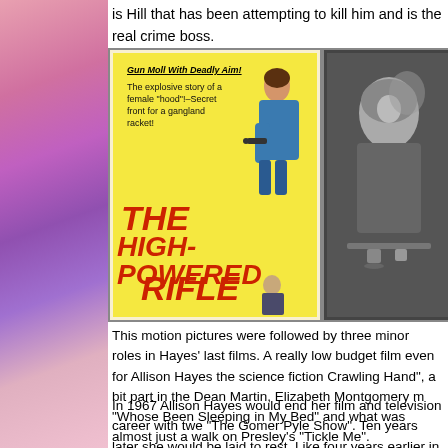is Hill that has been attempting to kill him and is the real crime boss.
[Figure (photo): Movie poster for 'The High-Powered Rifle' with yellow background, showing a woman with the tagline 'Gun Moll With Deadly Aim! The explosive story of a female "hood"!–Secret front for a gangland racket!']
[Figure (photo): Black and white photograph of a woman (Allison Hayes) in a glamorous pose]
This motion pictures were followed by three minor roles in Hayes' last films. A really low budget film even for Allison Hayes the science fiction Crawling Hand", a bit part in the Dean Martin, Elizabeth Montgomery m "Whose Been Sleeping in My Bed" and what was almost just a walk on Presley's "Tickle Me".
In 1967 Allison Hayes would end her film and television career with twe "The Gomer Pyle Show". Ten years later she would be laid to rest. Like four years earlier in 1973 Allison Hayes life was cut too short, but al